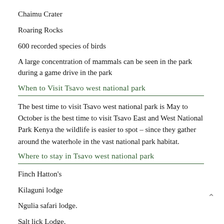Chaimu Crater
Roaring Rocks
600 recorded species of birds
A large concentration of mammals can be seen in the park during a game drive in the park
When to Visit Tsavo west national park
The best time to visit Tsavo west national park is May to October is the best time to visit Tsavo East and West National Park Kenya the wildlife is easier to spot – since they gather around the waterhole in the vast national park habitat.
Where to stay in Tsavo west national park
Finch Hatton's
Kilaguni lodge
Ngulia safari lodge.
Salt lick Lodge.
Voyager ziwani tented camp.